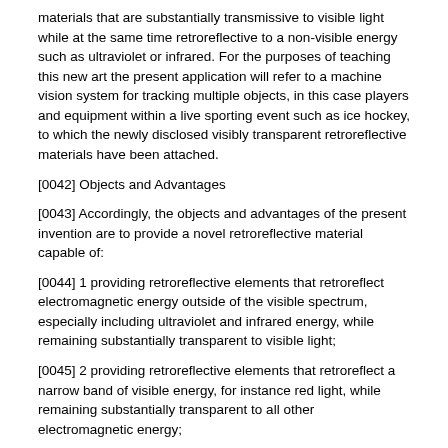materials that are substantially transmissive to visible light while at the same time retroreflective to a non-visible energy such as ultraviolet or infrared. For the purposes of teaching this new art the present application will refer to a machine vision system for tracking multiple objects, in this case players and equipment within a live sporting event such as ice hockey, to which the newly disclosed visibly transparent retroreflective materials have been attached.
[0042] Objects and Advantages
[0043] Accordingly, the objects and advantages of the present invention are to provide a novel retroreflective material capable of:
[0044] 1 providing retroreflective elements that retroreflect electromagnetic energy outside of the visible spectrum, especially including ultraviolet and infrared energy, while remaining substantially transparent to visible light;
[0045] 2 providing retroreflective elements that retroreflect a narrow band of visible energy, for instance red light, while remaining substantially transparent to all other electromagnetic energy;
[0046] 3 providing a retroreflective element that employs fluorescent materials to receive incident energy about one wavelength and emit energy about a second tracking wavelength, where the emitted energy is generally reflected back in the direction of the incident energy;